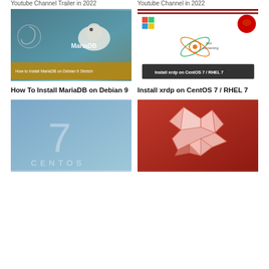Youtube Channel Trailer in 2022
Youtube Channel in 2022
[Figure (screenshot): Thumbnail image for MariaDB on Debian 9 tutorial showing MariaDB seal logo and dark teal background with text 'How to Install MariaDB on Debian 9 Stretch']
[Figure (screenshot): Thumbnail image for xrdp on CentOS 7 / RHEL 7 tutorial showing logos and dark banner with text 'Install xrdp on CentOS 7 / RHEL 7']
How To Install MariaDB on Debian 9
Install xrdp on CentOS 7 / RHEL 7
[Figure (screenshot): Thumbnail showing CentOS 7 logo with stylized number 7 and text 'CENTOS' on blue gradient background]
[Figure (screenshot): Thumbnail showing Ubuntu origami fox/animal logo on red background]